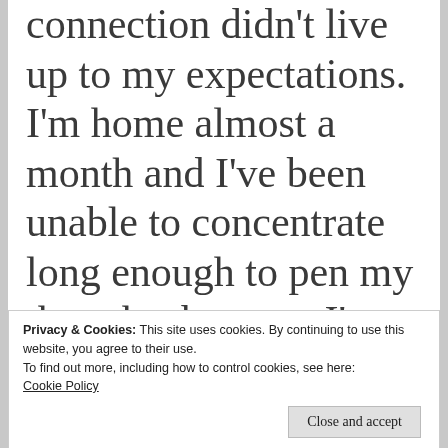...but my internet connection didn't live up to my expectations. I'm home almost a month and I've been unable to concentrate long enough to pen my thoughts because I've
Privacy & Cookies: This site uses cookies. By continuing to use this website, you agree to their use.
To find out more, including how to control cookies, see here: Cookie Policy
Close and accept
CFS/FIBRO currency